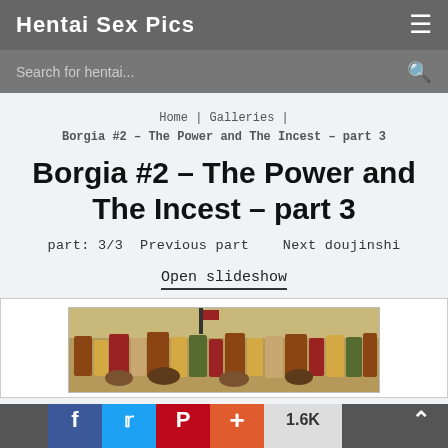Hentai Sex Pics
Search for hentai...
Home | Galleries | Borgia #2 – The Power and The Incest – part 3
Borgia #2 – The Power and The Incest – part 3
part: 3/3  Previous part    Next doujinshi
Open slideshow
[Figure (illustration): Historical illustration showing a procession with horses and figures in period costume]
f  Twitter  P  +  1.6K  ^